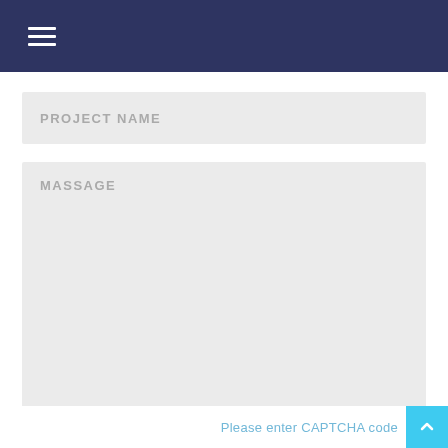Navigation menu (hamburger icon)
PROJECT NAME
MASSAGE
Please enter CAPTCHA code